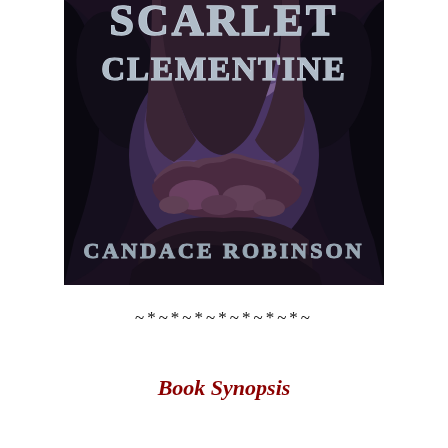[Figure (illustration): Book cover of 'Scarlet Clementine' by Candace Robinson. Dark fantasy cover with large stylized silver/metallic text reading 'Scarlet Clementine' at the top, a dramatic cave or rock arch opening revealing a moody purple and blue sky with clouds, rocky terrain in the foreground in dark purple/brown tones, and the author name 'Candace Robinson' in decorative metallic text at the bottom. Dark dragon or creature wings are visible on the sides.]
~*~*~*~*~*~*~*~
Book Synopsis